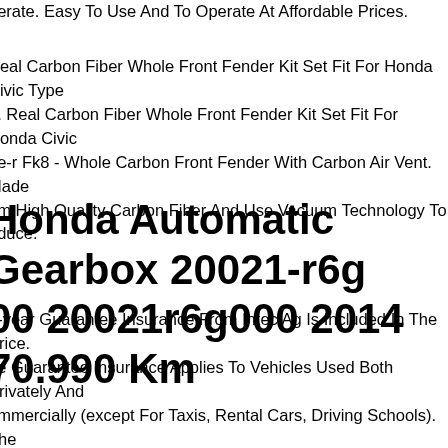perate. Easy To Use And To Operate At Affordable Prices.
Real Carbon Fiber Whole Front Fender Kit Set Fit For Honda Civic Type 8. Real Carbon Fiber Whole Front Fender Kit Set Fit For Honda Civic pe-r Fk8 - Whole Carbon Front Fender With Carbon Air Vent. Made om High Quality Carbon Fiber And Use Vacuum Technology To oduce.
Honda Automatic Gearbox 20021-r6g 00 20021r6g000 2014 70.990 Km
1-year Guarantee Insurance From Intec Ag Is Included In The Price. he Guarantee Insurance Applies To Vehicles Used Both Privately And ommercially (except For Taxis, Rental Cars, Driving Schools). The arranty Insurance Can Only Be Taken Out For Vehicles Registered In ermany. In Order To Take Out The Guarantee Insurance, We Need our Vehicle Registration Document And The Mileage Of Your Vehicle. ou Will Receive The Insurance Documents And Guarantee Conditions: Email. Since We Also Offer Our Spare Parts On Other Portals, We